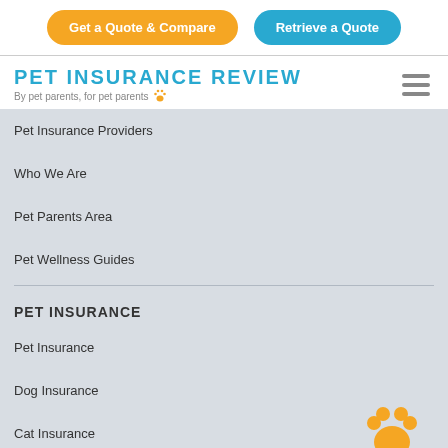Get a Quote & Compare | Retrieve a Quote
PET INSURANCE REVIEW
By pet parents, for pet parents 🐾
Pet Insurance Providers
Who We Are
Pet Parents Area
Pet Wellness Guides
PET INSURANCE
Pet Insurance
Dog Insurance
Cat Insurance
Canada